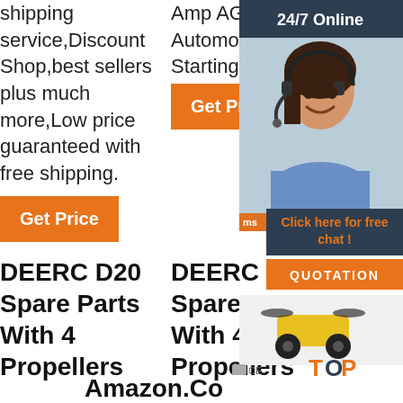shipping service,Discount Shop,best sellers plus much more,Low price guaranteed with free shipping.
[Figure (other): Orange 'Get Price' button, left column]
Amp AGM Automotive Starting B …
[Figure (other): Orange 'Get Price' button, middle column]
[Figure (other): Right sidebar with 24/7 Online banner, female agent photo with headset, 'Click here for free chat!' text, QUOTATION button, drone toy image, TOP badge, Amazon.Co text]
DEERC D20 Spare Parts With 4 Propellers
DEERC D20 Spare Parts With 4 Propellers
Amazon.Co